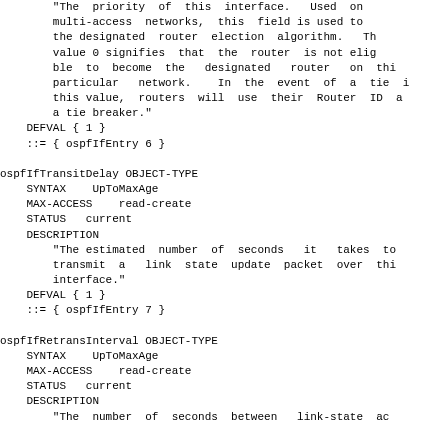"The priority of this interface.  Used on multi-access networks, this field is used to the designated router election algorithm.  The value 0 signifies that the router is not eligible to become the designated router on this particular network.  In the event of a tie in this value, routers will use their Router ID as a tie breaker."
    DEFVAL { 1 }
    ::= { ospfIfEntry 6 }
ospfIfTransitDelay OBJECT-TYPE
    SYNTAX   UpToMaxAge
    MAX-ACCESS   read-create
    STATUS   current
    DESCRIPTION
        "The estimated number of seconds it takes to transmit a  link state update packet over this interface."
    DEFVAL { 1 }
    ::= { ospfIfEntry 7 }
ospfIfRetransInterval OBJECT-TYPE
    SYNTAX   UpToMaxAge
    MAX-ACCESS   read-create
    STATUS   current
    DESCRIPTION
        "The number of seconds between  link-state advertisements"